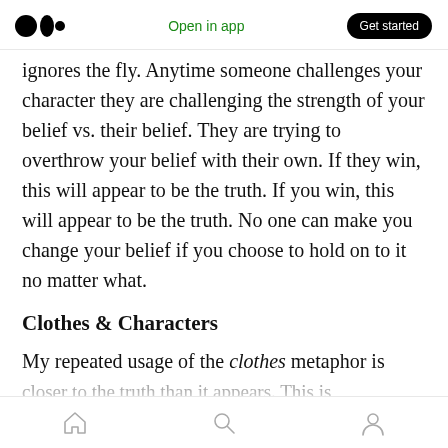Open in app  Get started
ignores the fly. Anytime someone challenges your character they are challenging the strength of your belief vs. their belief. They are trying to overthrow your belief with their own. If they win, this will appear to be the truth. If you win, this will appear to be the truth. No one can make you change your belief if you choose to hold on to it no matter what.
Clothes & Characters
My repeated usage of the clothes metaphor is closer to the truth than it appears. This is
Home  Search  Profile